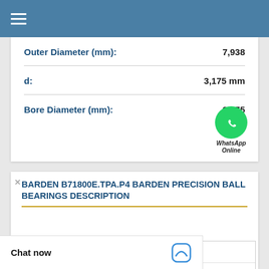Navigation menu header bar
| Property | Value |
| --- | --- |
| Outer Diameter (mm): | 7,938 |
| d: | 3,175 mm |
| Bore Diameter (mm): | 3,175 |
[Figure (logo): WhatsApp green circle icon with phone handset, labeled WhatsApp Online]
BARDEN B71800E.TPA.P4 BARDEN PRECISION BALL BEARINGS DESCRIPTION
| Bearing Material | [Steel] Steel |
| --- | --- |
| Bearing Material | [Steel] Steel |
| Bearing Retained | No |
Chat now